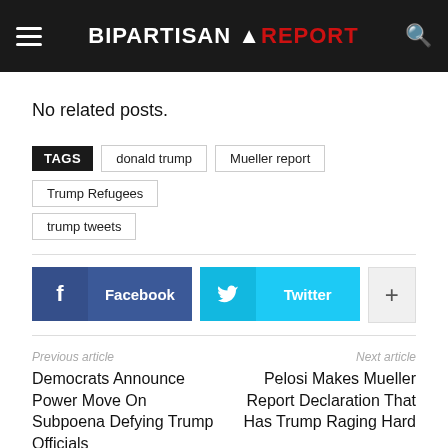BIPARTISAN REPORT
No related posts.
TAGS  donald trump  Mueller report  Trump Refugees  trump tweets
Facebook  Twitter  +
Previous article
Democrats Announce Power Move On Subpoena Defying Trump Officials
Next article
Pelosi Makes Mueller Report Declaration That Has Trump Raging Hard